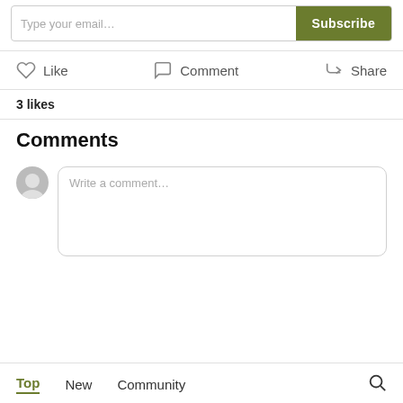[Figure (screenshot): Email subscribe bar with 'Type your email...' placeholder and green 'Subscribe' button]
[Figure (infographic): Action bar with Like (heart icon), Comment (speech bubble icon), Share (share icon) buttons]
3 likes
Comments
[Figure (screenshot): Comment input area with user avatar and 'Write a comment...' placeholder text box]
[Figure (screenshot): Tabs bar with Top (active, olive colored), New, Community tabs and search icon]